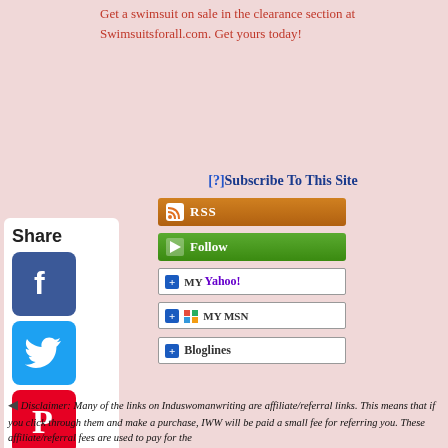Get a swimsuit on sale in the clearance section at Swimsuitsforall.com. Get yours today!
[?]Subscribe To This Site
[Figure (screenshot): RSS subscribe button (orange/brown gradient)]
[Figure (screenshot): Follow button (green)]
[Figure (screenshot): Add to My Yahoo! button]
[Figure (screenshot): Add to My MSN button]
[Figure (screenshot): Add to Bloglines button]
[Figure (screenshot): Share sidebar with Facebook, Twitter, Pinterest, Tumblr, Reddit, WhatsApp icons]
Disclaimer: Many of the links on Induswomanwriting are affiliate/referral links. This means that if you click through them and make a purchase, IWW will be paid a small fee for referring you. These affiliate/referral fees are used to pay for the